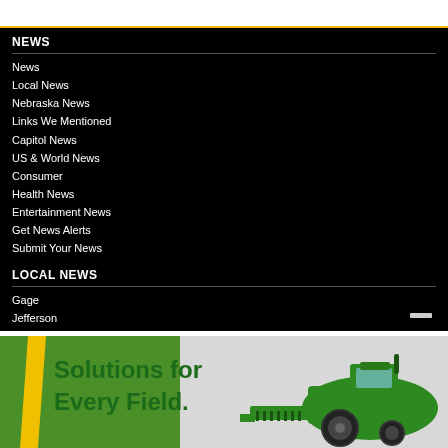NEWS
News
Local News
Nebraska News
Links We Mentioned
Capitol News
US & World News
Consumer
Health News
Entertainment News
Get News Alerts
Submit Your News
LOCAL NEWS
Gage
Jefferson
[Figure (illustration): John Deere advertisement banner with green combine harvester and text 'Solutions for Every Field.' on a green and grey background with yellow stripe accent.]